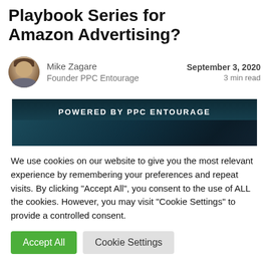Playbook Series for Amazon Advertising?
Mike Zagare
Founder PPC Entourage

September 3, 2020
3 min read
[Figure (photo): Dark teal/black background banner image with 'POWERED BY PPC ENTOURAGE' text at top and large 'ENTOURAGE' text with dashes at bottom]
We use cookies on our website to give you the most relevant experience by remembering your preferences and repeat visits. By clicking "Accept All", you consent to the use of ALL the cookies. However, you may visit "Cookie Settings" to provide a controlled consent.